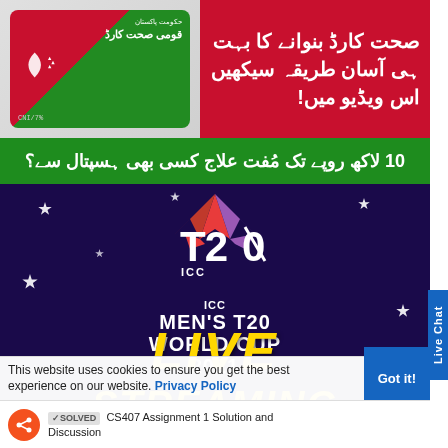[Figure (screenshot): Pakistani Sehat Card (health card) promotional image showing a green and red card with Urdu text and crescent symbol]
[Figure (infographic): Red box with Urdu text about how to get Sehat Card, easy method in this video]
[Figure (infographic): Green banner with Urdu text: 10 lakh rupees tak muft ilaj kisi bhi hospital se?]
[Figure (screenshot): ICC Men's T20 World Cup 2021 Live Streaming promotional banner on dark purple/blue background with T20 logo and yellow text LIVE STREAMING]
This website uses cookies to ensure you get the best experience on our website.
Got it!
[SOLVED] CS407 Assignment 1 Solution and Discussion
Privacy Policy